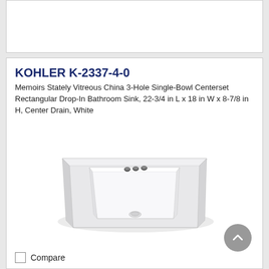KOHLER K-2337-4-0
Memoirs Stately Vitreous China 3-Hole Single-Bowl Centerset Rectangular Drop-In Bathroom Sink, 22-3/4 in L x 18 in W x 8-7/8 in H, Center Drain, White
[Figure (photo): White rectangular drop-in bathroom sink with three faucet holes, viewed from a slightly elevated angle showing the basin interior and rim.]
Compare
Brand: Kohler
PN: K23374WH
MPN: K-2337-4-0